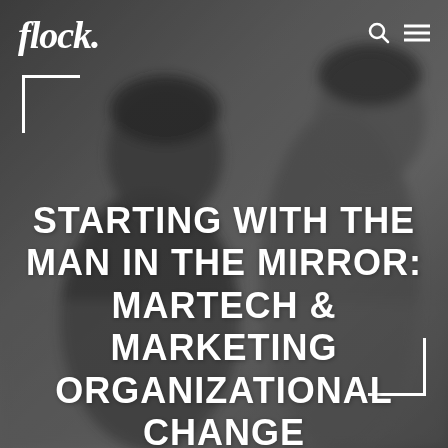[Figure (photo): Blurred background photo of two men in business casual attire appearing to have a conversation or looking in a mirror, with a grey/dark tone overlay]
flock.
STARTING WITH THE MAN IN THE MIRROR: MARTECH & MARKETING ORGANIZATIONAL CHANGE